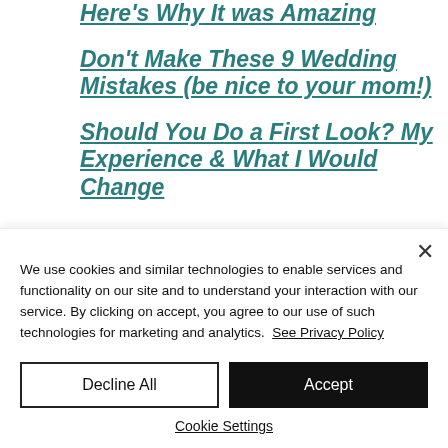Here's Why It was Amazing
Don't Make These 9 Wedding Mistakes (be nice to your mom!)
Should You Do a First Look? My Experience & What I Would Change
We use cookies and similar technologies to enable services and functionality on our site and to understand your interaction with our service. By clicking on accept, you agree to our use of such technologies for marketing and analytics. See Privacy Policy
Decline All
Accept
Cookie Settings